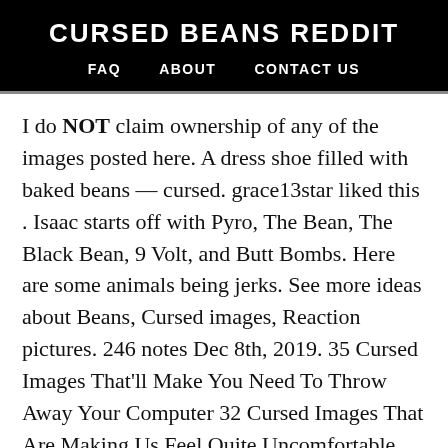CURSED BEANS REDDIT
FAQ   ABOUT   CONTACT US
I do NOT claim ownership of any of the images posted here. A dress shoe filled with baked beans — cursed. grace13star liked this . Isaac starts off with Pyro, The Bean, The Black Bean, 9 Volt, and Butt Bombs. Here are some animals being jerks. See more ideas about Beans, Cursed images, Reaction pictures. 246 notes Dec 8th, 2019. 35 Cursed Images That'll Make You Need To Throw Away Your Computer 32 Cursed Images That Are Making Us Feel Quite Uncomfortable ... Cursed Images of Beans That Are Absolutely Awful (40 Images) ... cursed